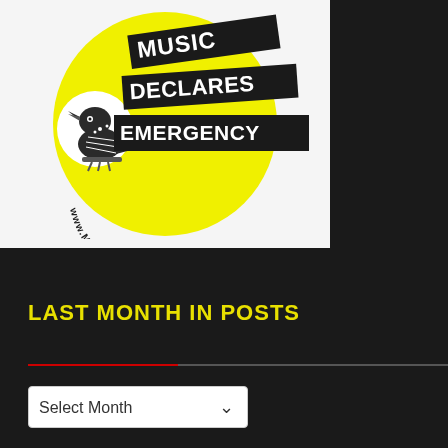[Figure (logo): Music Declares Emergency logo: a yellow circle with a black and white illustration of a woodpecker bird on the left, three black banner strips reading 'MUSIC', 'DECLARES', 'EMERGENCY' in white bold text, and 'www.MUSICDECLARES.NET' in curved text along the bottom of the circle.]
LAST MONTH IN POSTS